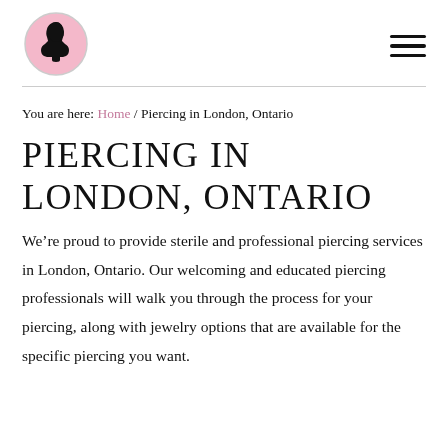[Figure (logo): Circular cameo logo with pink background showing a black silhouette of a woman's profile facing right, with an oval border]
Navigation menu hamburger icon (three horizontal lines)
You are here: Home / Piercing in London, Ontario
PIERCING IN LONDON, ONTARIO
We’re proud to provide sterile and professional piercing services in London, Ontario. Our welcoming and educated piercing professionals will walk you through the process for your piercing, along with jewelry options that are available for the specific piercing you want.